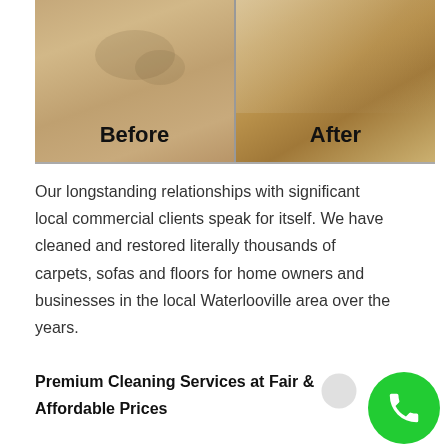[Figure (photo): Before and after comparison photos of carpet cleaning. Left panel shows dirty/stained carpet labeled 'Before', right panel shows clean restored carpet labeled 'After'.]
Our longstanding relationships with significant local commercial clients speak for itself. We have cleaned and restored literally thousands of carpets, sofas and floors for home owners and businesses in the local Waterlooville area over the years.
Premium Cleaning Services at Fair & Affordable Prices